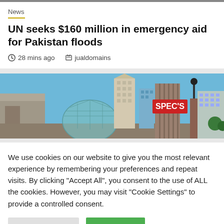News
UN seeks $160 million in emergency aid for Pakistan floods
28 mins ago   jualdomains
[Figure (photo): City skyline with skyscrapers under blue sky, a red SPEC'S sign visible on a building]
We use cookies on our website to give you the most relevant experience by remembering your preferences and repeat visits. By clicking "Accept All", you consent to the use of ALL the cookies. However, you may visit "Cookie Settings" to provide a controlled consent.
Cookie Settings   Accept All